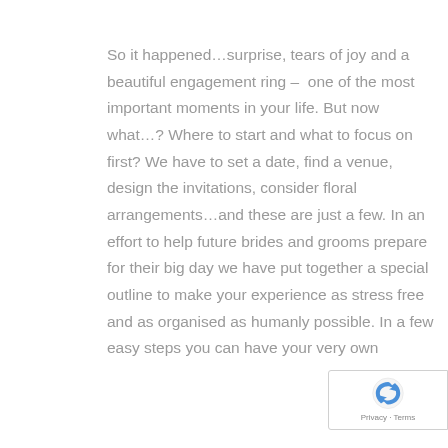So it happened…surprise, tears of joy and a beautiful engagement ring –  one of the most important moments in your life. But now what…? Where to start and what to focus on first? We have to set a date, find a venue, design the invitations, consider floral arrangements…and these are just a few. In an effort to help future brides and grooms prepare for their big day we have put together a special outline to make your experience as stress free and as organised as humanly possible. In a few easy steps you can have your very own